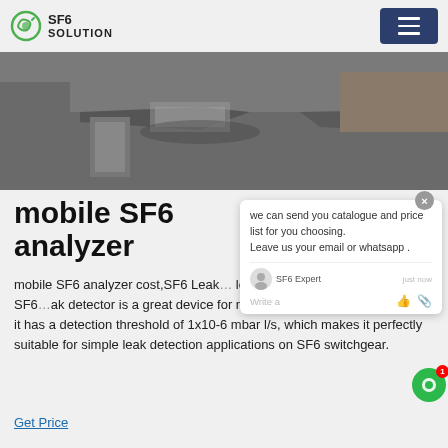SF6 SOLUTION
[Figure (photo): Outdoor industrial/street scene with pavement, shadows, and a truck in the background]
mobile SF6 analyzer
mobile SF6 analyzer cost,SF6 Leak ... low cost SF6 leak detector The SF6 ... leak detector is a great device for mobile detection. In practical use, it has a detection threshold of 1x10-6 mbar l/s, which makes it perfectly suitable for simple leak detection applications on SF6 switchgear.
Get Price
[Figure (screenshot): Chat popup overlay: 'we can send you catalogue and price list for you choosing. Leave us your email or whatsapp .' with SF6 Expert avatar, 'just now' timestamp, and Write a message input area]